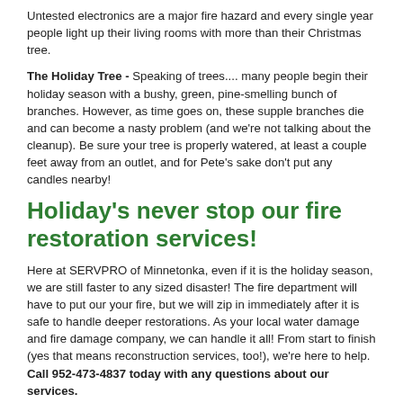Untested electronics are a major fire hazard and every single year people light up their living rooms with more than their Christmas tree.
The Holiday Tree - Speaking of trees.... many people begin their holiday season with a bushy, green, pine-smelling bunch of branches. However, as time goes on, these supple branches die and can become a nasty problem (and we're not talking about the cleanup). Be sure your tree is properly watered, at least a couple feet away from an outlet, and for Pete's sake don't put any candles nearby!
Holiday's never stop our fire restoration services!
Here at SERVPRO of Minnetonka, even if it is the holiday season, we are still faster to any sized disaster! The fire department will have to put our your fire, but we will zip in immediately after it is safe to handle deeper restorations. As your local water damage and fire damage company, we can handle it all! From start to finish (yes that means reconstruction services, too!), we're here to help. Call 952-473-4837 today with any questions about our services.